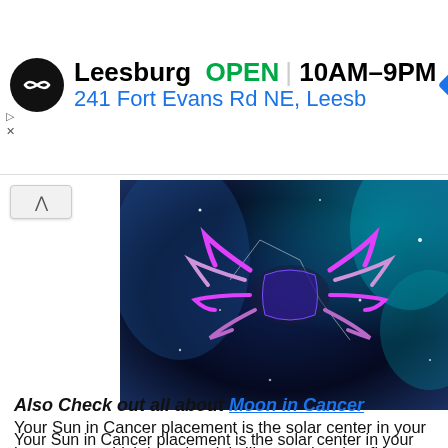[Figure (screenshot): Advertisement banner for a store in Leesburg showing logo, OPEN status, hours 10AM-9PM, and address 241 Fort Evans Rd NE, Leesburg with navigation icon]
[Figure (illustration): Colorful artistic illustration of the Cancer zodiac constellation crab on a dark blue/black watercolor background with white stars]
Also Check out all about Moon in Cancer
Your Sun in Cancer placement is the solar center in your horoscope, which is active; it is like a spring that flows and does not depend on other forces.
There are personality traits, connected with your Sun in Cancer placement that cannot be changed through upbringing, education or